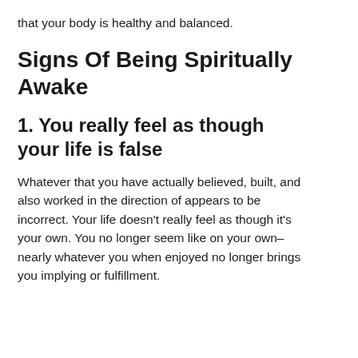that your body is healthy and balanced.
Signs Of Being Spiritually Awake
1. You really feel as though your life is false
Whatever that you have actually believed, built, and also worked in the direction of appears to be incorrect. Your life doesn't really feel as though it's your own. You no longer seem like on your own– nearly whatever you when enjoyed no longer brings you implying or fulfillment.